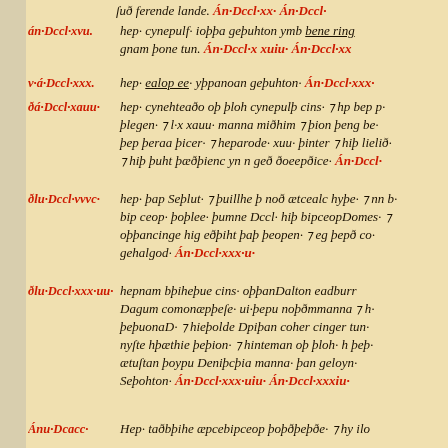Anglo-Saxon Chronicle manuscript page showing annals in Old English with year labels in red and chronicle text in black, including entries for years around DCCLXXX-DCCCXXX
[Figure (photo): Manuscript page from the Anglo-Saxon Chronicle written in medieval script with red year annotations and black chronicle text on parchment background]